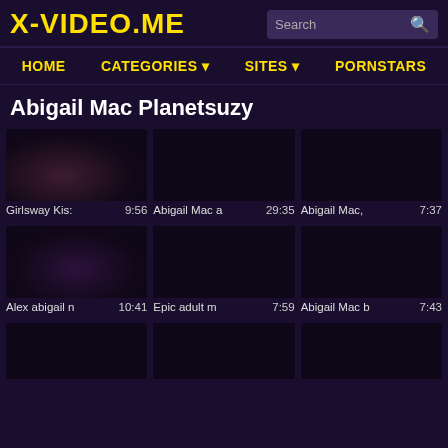X-VIDEO.ME
HOME | CATEGORIES | SITES | PORNSTARS
Abigail Mac Planetsuzy
[Figure (screenshot): Video thumbnail 1 - dark scene]
Girlsway Kis: 9:56
[Figure (screenshot): Video thumbnail 2 - dark scene]
Abigail Mac a 29:35
[Figure (screenshot): Video thumbnail 3 - dark scene]
Abigail Mac, 7:37
[Figure (screenshot): Video thumbnail 4 - dark scene]
Alex abigail n 10:41
[Figure (screenshot): Video thumbnail 5 - dark scene]
Epic adult m 7:59
[Figure (screenshot): Video thumbnail 6 - dark scene]
Abigail Mac b 7:43
[Figure (screenshot): Video thumbnail 7 - dark scene, partial]
[Figure (screenshot): Video thumbnail 8 - dark scene, partial]
[Figure (screenshot): Video thumbnail 9 - dark scene, partial]